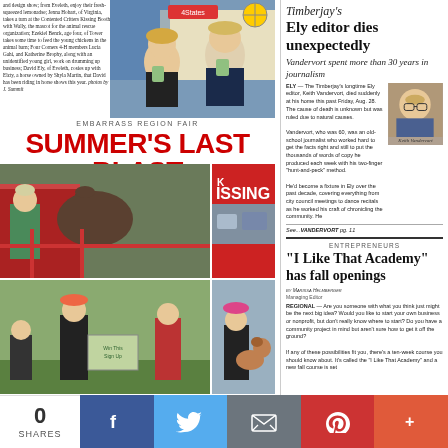and design show; from Eveleth, enjoy their fresh-squeezed lemonadse; Jenna Hobart, of Virginia, takes a turn at the Contented Critters Kissing Booth with Wally, the mascot for the animal rescue organization; Ezekiel Benck, age four, of Tower takes some time to feed the young chickens in the animal barn; Four Corners 4-H members Lucia Gahi, and Katherine Brophy, along with an unidentified young girl, work on drumming up business; David Ely, of Eveleth, cosies up with Elzty, a horse owned by Shyla Martin, that David has been riding in horse shows this year. photos by J. Summit
[Figure (photo): Two children holding drinks at the Embarrass Region Fair]
EMBARRASS REGION FAIR
SUMMER'S LAST BLAST
[Figure (photo): Child feeding an animal at a fair]
[Figure (photo): Kissing booth sign in red]
[Figure (photo): Girl with dog at fair]
[Figure (photo): Children at fair with sign]
[Figure (photo): Child with chickens]
Timberjay's Ely editor dies unexpectedly
Vandervort spent more than 30 years in journalism
ELY — The Timberjay's longtime Ely editor, Keith Vandervort, died suddenly at his home this past Friday, Aug. 28. The cause of death is unknown but was ruled due to natural causes. Vandervort, who was 60, was an old-school journalist who worked hard to get the facts right and still to put the thousands of words of copy he produced each week with his two-finger "hunt-and-peck" method. He'd become a fixture in Ely over the past decade, covering everything from city council meetings to dance recitals as he worked his craft of chronicling the community. He
[Figure (photo): Keith Vandervort portrait photo]
Keith Vandervort
See... VANDERVORT pg. 11
ENTREPRENEURS
“I Like That Academy” has fall openings
by Marissa Helmberger
Managing Editor
REGIONAL — Are you someone with what you think just might be the next big idea? Would you like to start your own business or nonprofit, but don't really know where to start? Do you have a community project in mind but aren't sure how to get it off the ground? If any of these possibilities fit you, there's a ten-week course you should know about. It's called the "I Like That Academy" and a new fall course is set
0 SHARES
f
t
email
p
+